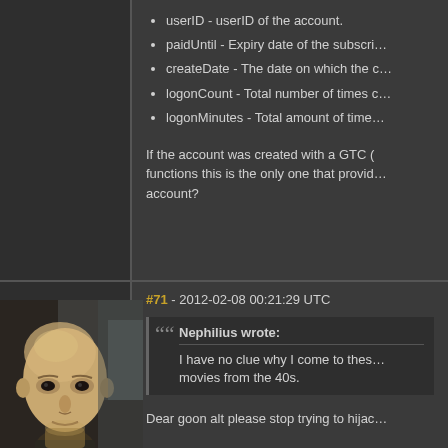userID - userID of the account.
paidUntil - Expiry date of the subscri…
createDate - The date on which the c…
logonCount - Total number of times c…
logonMinutes - Total amount of time…
If the account was created with a GTC (…) functions this is the only one that provid… account?
#71 - 2012-02-08 00:21:29 UTC
[Figure (photo): Avatar image of a bald humanoid character from an online game, dark background]
scooter Kondur
Doomheim
Likes received: 121
Nephilius wrote: I have no clue why I come to thes… movies from the 40s.
Dear goon alt please stop trying to hijac…